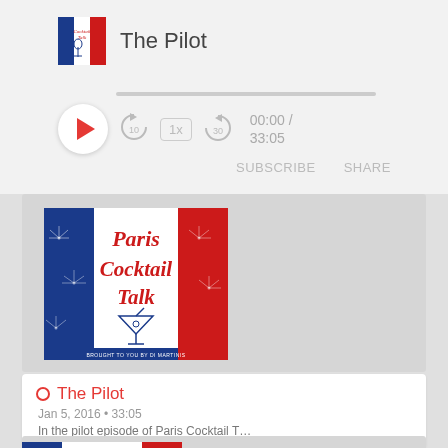[Figure (screenshot): Podcast player interface for Paris Cocktail Talk showing the episode 'The Pilot' with play controls, progress bar, speed control, SUBSCRIBE and SHARE buttons]
The Pilot
00:00 / 33:05
SUBSCRIBE   SHARE
[Figure (illustration): Paris Cocktail Talk podcast cover art: French tricolor design (blue, white, red) with fireworks, red cursive text 'Paris Cocktail Talk', martini glass illustration, 'BROUGHT TO YOU BY DI MARTINIS' text at bottom]
The Pilot
Jan 5, 2016 • 33:05
In the pilot episode of Paris Cocktail T…
[Figure (illustration): Partial view of Paris Cocktail Talk podcast cover art showing French flag colors and 'Paris' in red cursive text]